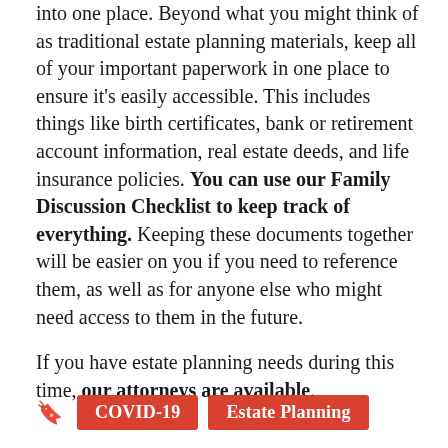into one place. Beyond what you might think of as traditional estate planning materials, keep all of your important paperwork in one place to ensure it's easily accessible. This includes things like birth certificates, bank or retirement account information, real estate deeds, and life insurance policies. You can use our Family Discussion Checklist to keep track of everything. Keeping these documents together will be easier on you if you need to reference them, as well as for anyone else who might need access to them in the future.
If you have estate planning needs during this time, our attorneys are available.
COVID-19
Estate Planning